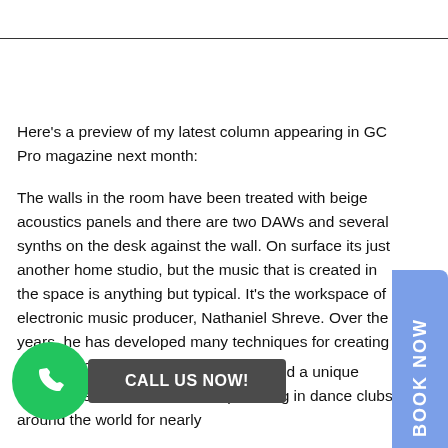Here's a preview of my latest column appearing in GC Pro magazine next month:
The walls in the room have been treated with beige acoustics panels and there are two DAWs and several synths on the desk against the wall. On surface its just another home studio, but the music that is created in the space is anything but typical. It's the workspace of electronic music producer, Nathaniel Shreve. Over the years, he has developed many techniques for creating unusual sounds and sonic textures.
Sh... known as Hidden Variable, created a unique brand of techno that has been pulsating in dance clubs around the world for nearly